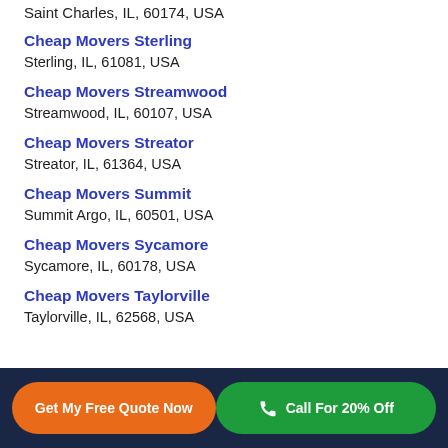Saint Charles, IL, 60174, USA
Cheap Movers Sterling
Sterling, IL, 61081, USA
Cheap Movers Streamwood
Streamwood, IL, 60107, USA
Cheap Movers Streator
Streator, IL, 61364, USA
Cheap Movers Summit
Summit Argo, IL, 60501, USA
Cheap Movers Sycamore
Sycamore, IL, 60178, USA
Cheap Movers Taylorville
Taylorville, IL, 62568, USA
Get My Free Quote Now | Call For 20% Off